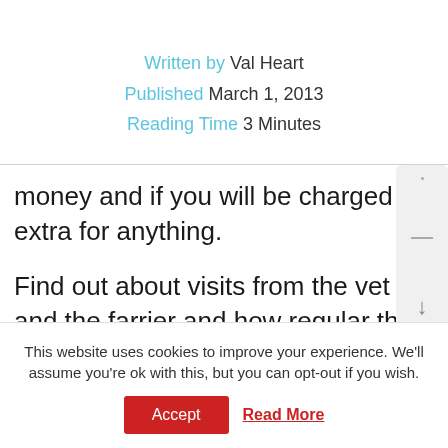Written by Val Heart
Published March 1, 2013
Reading Time 3 Minutes
money and if you will be charged extra for anything.
Find out about visits from the vet and the farrier and how regular they are; ask about the fire procedures, the bedding and feed used and also find out if you will be allowed to
This website uses cookies to improve your experience. We'll assume you're ok with this, but you can opt-out if you wish.